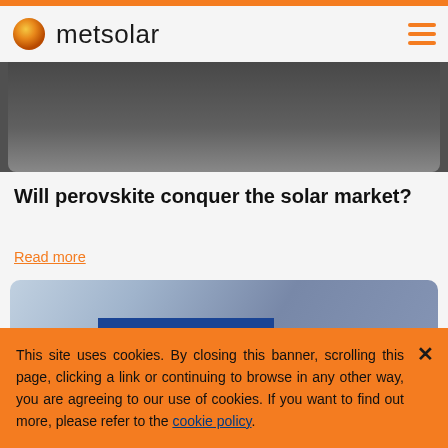metsolar
[Figure (photo): Dark grey blurred background image at the top of the page, partially visible above the article title.]
Will perovskite conquer the solar market?
Read more
[Figure (photo): Photo of a solar cell with text 'Solar Cell' overlaid on a blue panel background, with light blue and grey tones behind.]
This site uses cookies. By closing this banner, scrolling this page, clicking a link or continuing to browse in any other way, you are agreeing to our use of cookies. If you want to find out more, please refer to the cookie policy.